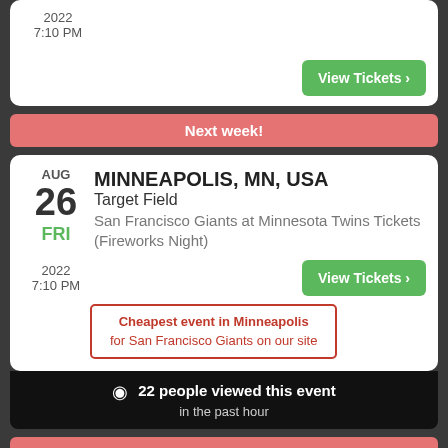2022
7:10 PM
[Figure (other): View Tickets button (green, with arrow)]
Next week!
MINNEAPOLIS, MN, USA
Target Field
San Francisco Giants at Minnesota Twins Tickets (Fireworks Night)
AUG 26 FRI
2022
7:10 PM
[Figure (other): View Tickets button (green, with arrow)]
Cheapest event in Minneapolis for San Francisco Giants on our site
22 people viewed this event in the past hour
Next week!
MINNEAPOLIS, MN, USA
Target Field Parking Lots
PARKING PASSES ONLY San Francisco Giants at ...
AUG